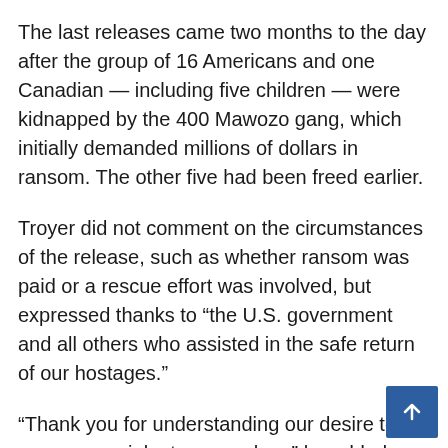The last releases came two months to the day after the group of 16 Americans and one Canadian — including five children — were kidnapped by the 400 Mawozo gang, which initially demanded millions of dollars in ransom. The other five had been freed earlier.
Troyer did not comment on the circumstances of the release, such as whether ransom was paid or a rescue effort was involved, but expressed thanks to “the U.S. government and all others who assisted in the safe return of our hostages.”
“Thank you for understanding our desire to pursue nonviolent approaches,” he added, without elaboration.